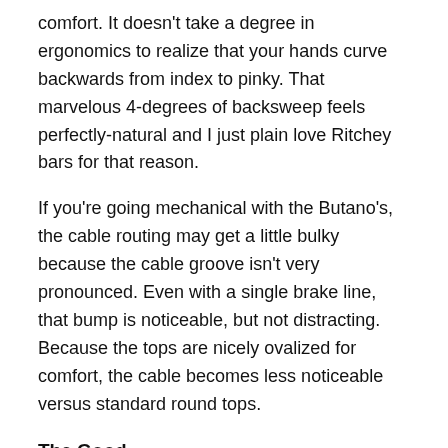comfort. It doesn't take a degree in ergonomics to realize that your hands curve backwards from index to pinky. That marvelous 4-degrees of backsweep feels perfectly-natural and I just plain love Ritchey bars for that reason.
If you're going mechanical with the Butano's, the cable routing may get a little bulky because the cable groove isn't very pronounced. Even with a single brake line, that bump is noticeable, but not distracting. Because the tops are nicely ovalized for comfort, the cable becomes less noticeable versus standard round tops.
The Good
Really an ideal shape for road and gravel
That extra flare in the drops helps in rough stuff
Backsweep on the tops is superb